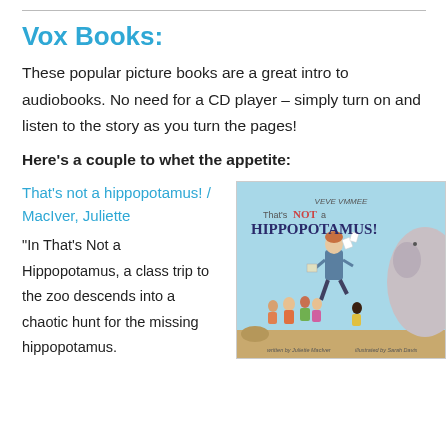Vox Books:
These popular picture books are a great intro to audiobooks. No need for a CD player – simply turn on and listen to the story as you turn the pages!
Here's a couple to whet the appetite:
That's not a hippopotamus! / MacIver, Juliette
“In That’s Not a Hippopotamus, a class trip to the zoo descends into a chaotic hunt for the missing hippopotamus.
[Figure (photo): Book cover of 'That's NOT a HIPPOPOTAMUS!' written by Juliette MacIver, illustrated by Sarah Davis. Shows a teacher running with children on a light blue background.]